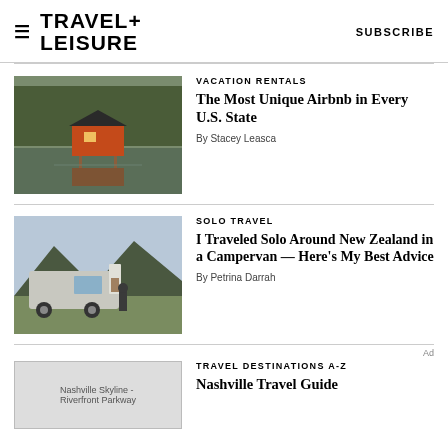TRAVEL+ LEISURE   SUBSCRIBE
[Figure (photo): A red cabin on stilts over a calm lake surrounded by autumn trees, reflected in the water at dusk]
VACATION RENTALS
The Most Unique Airbnb in Every U.S. State
By Stacey Leasca
[Figure (photo): A van with open rear hatch in a green valley with mountains in the background, solo travel campervan setup]
SOLO TRAVEL
I Traveled Solo Around New Zealand in a Campervan — Here's My Best Advice
By Petrina Darrah
Ad
[Figure (photo): Nashville Skyline - Riverfront Parkway (broken image placeholder)]
TRAVEL DESTINATIONS A-Z
Nashville Travel Guide